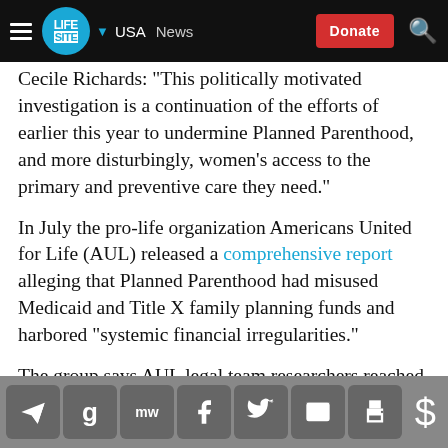LifeSite — USA | News | Donate
Cecile Richards: "This politically motivated investigation is a continuation of the efforts of earlier this year to undermine Planned Parenthood, and more disturbingly, women's access to the primary and preventive care they need."
In July the pro-life organization Americans United for Life (AUL) released a comprehensive report alleging that Planned Parenthood had misused Medicaid and Title X family planning funds and harbored "systemic financial irregularities."
The group says AUL legal team researchers reached the conclusion after examining countless Planned Parenthood records, law enforcement reports, and
Social share icons: Telegram, Google, MW, Facebook, Twitter, Email, Print, Donate